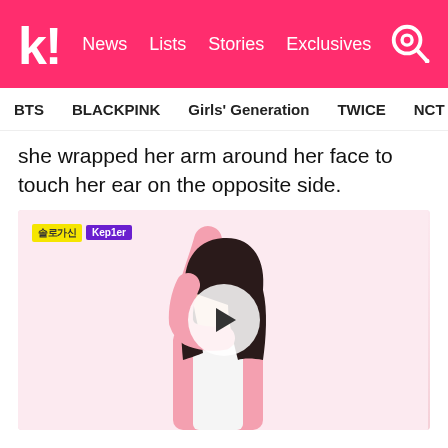k! News Lists Stories Exclusives
BTS BLACKPINK Girls' Generation TWICE NCT aespa
she wrapped her arm around her face to touch her ear on the opposite side.
[Figure (screenshot): Video thumbnail showing a person in a pink outfit with arm raised, with a play button overlay. Korean TV show branding visible in top left corner.]
6. Dayeon